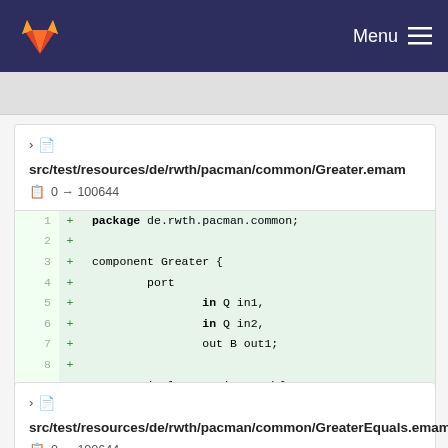Menu
src/test/resources/de/rwth/pacman/common/Greater.emam  0 → 100644
1 + package de.rwth.pacman.common;
2 +
3 + component Greater {
4 +         port
5 +                 in Q in1,
6 +                 in Q in2,
7 +                 out B out1;
8 +
9 +         implementation Math{
10 +                 out1=in1>in2;
11 +         }
12 + }
src/test/resources/de/rwth/pacman/common/GreaterEquals.emam  0 → 100644